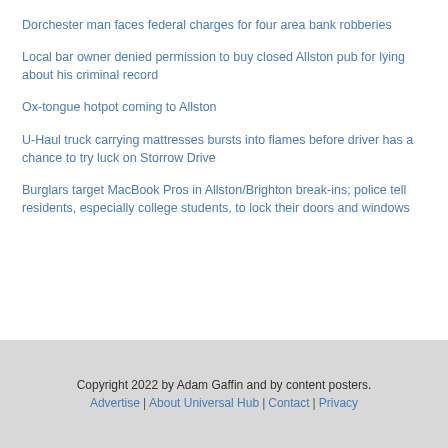Dorchester man faces federal charges for four area bank robberies
Local bar owner denied permission to buy closed Allston pub for lying about his criminal record
Ox-tongue hotpot coming to Allston
U-Haul truck carrying mattresses bursts into flames before driver has a chance to try luck on Storrow Drive
Burglars target MacBook Pros in Allston/Brighton break-ins; police tell residents, especially college students, to lock their doors and windows
Copyright 2022 by Adam Gaffin and by content posters. Advertise | About Universal Hub | Contact | Privacy